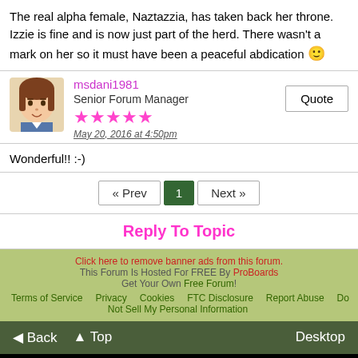The real alpha female, Naztazzia, has taken back her throne. Izzie is fine and is now just part of the herd. There wasn't a mark on her so it must have been a peaceful abdication 🙂
msdani1981
Senior Forum Manager
★★★★★
May 20, 2016 at 4:50pm
Wonderful!! :-)
« Prev  1  Next »
Reply To Topic
Click here to remove banner ads from this forum.
This Forum Is Hosted For FREE By ProBoards
Get Your Own Free Forum!
Terms of Service  Privacy  Cookies  FTC Disclosure  Report Abuse  Do Not Sell My Personal Information
◄ Back  ▲ Top  Desktop